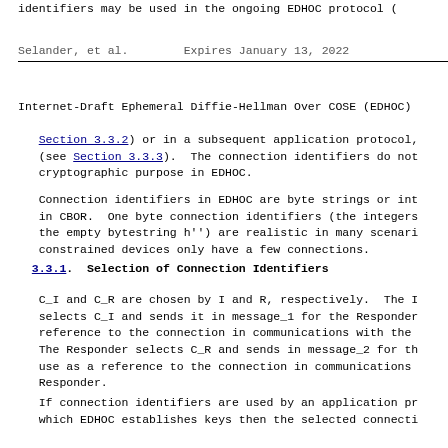identifiers may be used in the ongoing EDHOC protocol (
Selander, et al.        Expires January 13, 2022
Internet-Draft Ephemeral Diffie-Hellman Over COSE (EDHOC)
Section 3.3.2) or in a subsequent application protocol, (see Section 3.3.3).  The connection identifiers do not cryptographic purpose in EDHOC.
Connection identifiers in EDHOC are byte strings or int in CBOR.  One byte connection identifiers (the integers the empty bytestring h'') are realistic in many scenari constrained devices only have a few connections.
3.3.1.  Selection of Connection Identifiers
C_I and C_R are chosen by I and R, respectively.  The I selects C_I and sends it in message_1 for the Responder reference to the connection in communications with the The Responder selects C_R and sends in message_2 for th use as a reference to the connection in communications Responder.
If connection identifiers are used by an application pr which EDHOC establishes keys then the selected connecti